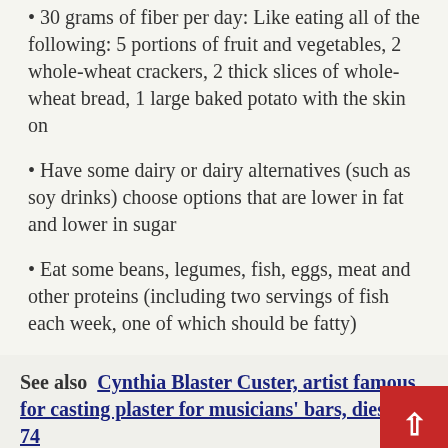30 grams of fiber per day: Like eating all of the following: 5 portions of fruit and vegetables, 2 whole-wheat crackers, 2 thick slices of whole-wheat bread, 1 large baked potato with the skin on
Have some dairy or dairy alternatives (such as soy drinks) choose options that are lower in fat and lower in sugar
Eat some beans, legumes, fish, eggs, meat and other proteins (including two servings of fish each week, one of which should be fatty)
See also  Cynthia Blaster Custer, artist famous for casting plaster for musicians' bars, dies at 74
Choose unsaturated oils and fats and consume in small quantities